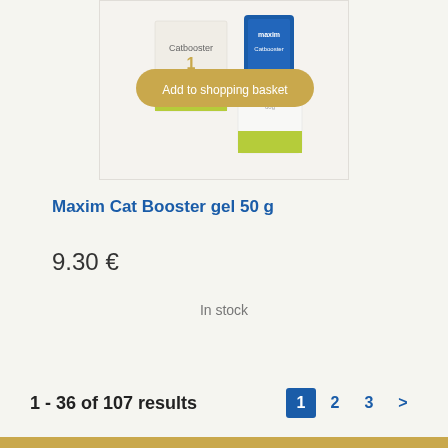[Figure (photo): Product photo of Maxim Cat Booster gel 50g showing two packaging items - a box and a tube with green and white design, with an 'Add to shopping basket' button overlay]
Maxim Cat Booster gel 50 g
9.30 €
In stock
1 - 36 of 107 results
1  2  3  >